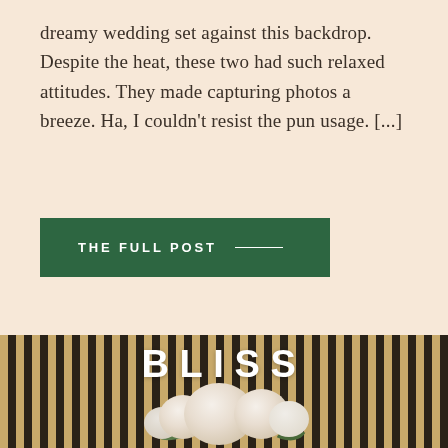dreamy wedding set against this backdrop. Despite the heat, these two had such relaxed attitudes. They made capturing photos a breeze. Ha, I couldn't resist the pun usage. [...]
THE FULL POST —
[Figure (photo): Photo with striped wood background and white roses bouquet with the text 'BLISS' overlaid in large bold white letters at the top]